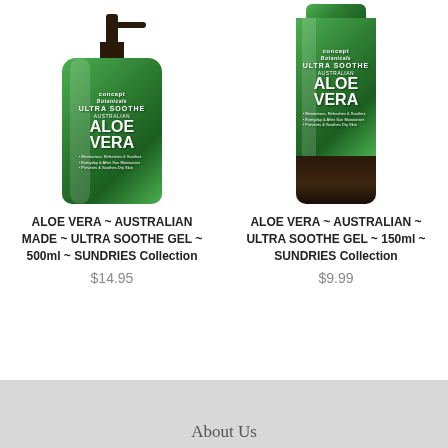[Figure (photo): Left product: Concept Botanicals Ultra Soothe Australian Aloe Vera pump bottle 500ml]
[Figure (photo): Right product: Concept Botanicals Ultra Soothe Australian Aloe Vera tube 150ml]
ALOE VERA ~ AUSTRALIAN MADE ~ ULTRA SOOTHE GEL ~ 500ml ~ SUNDRIES Collection
$14.95
ALOE VERA ~ AUSTRALIAN ~ ULTRA SOOTHE GEL ~ 150ml ~ SUNDRIES Collection
$9.99
About Us